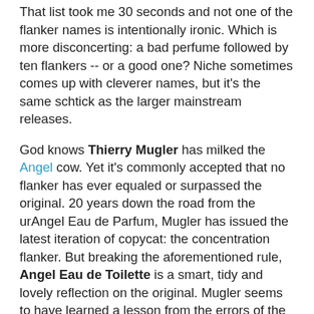That list took me 30 seconds and not one of the flanker names is intentionally ironic. Which is more disconcerting: a bad perfume followed by ten flankers -- or a good one? Niche sometimes comes up with cleverer names, but it's the same schtick as the larger mainstream releases.
God knows Thierry Mugler has milked the Angel cow. Yet it's commonly accepted that no flanker has ever equaled or surpassed the original. 20 years down the road from the urAngel Eau de Parfum, Mugler has issued the latest iteration of copycat: the concentration flanker. But breaking the aforementioned rule, Angel Eau de Toilette is a smart, tidy and lovely reflection on the original. Mugler seems to have learned a lesson from the errors of the legion of Angel imitators, from Nuits de Noho to Flowerbomb to Pink Sugar, and doesn't simply make proportion changes to the sweet/gourmand notes of the original.
Although there are similar elements between Angel EDP (hereafter referred to as “Angel”) and Angel EDT, the EDT is an exploration of the concepts underpinning Angel. The differences, the juxtapositions found in Angel are in the EDT, but they are in the Angel EDT in a more...